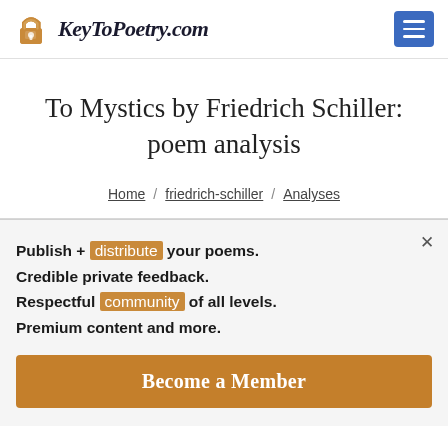KeyToPoetry.com
To Mystics by Friedrich Schiller: poem analysis
Home / friedrich-schiller / Analyses
Publish + distribute your poems.
Credible private feedback.
Respectful community of all levels.
Premium content and more.
Become a Member